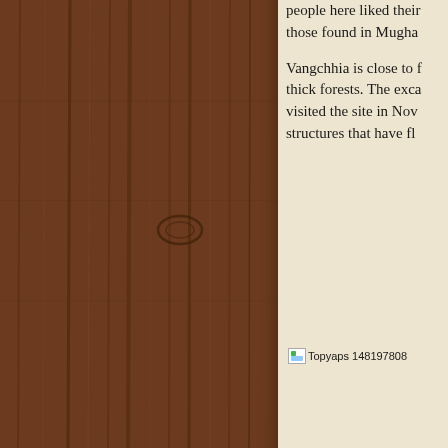[Figure (photo): Wooden panel background with vertical wood grain texture in dark brown tones, occupying the left portion of the page]
people here liked their those found in Mugha Vangchhia is close to f thick forests. The exca visited the site in Nov structures that have fl
[Figure (photo): Broken image placeholder labeled 'Topyaps 148197808...']